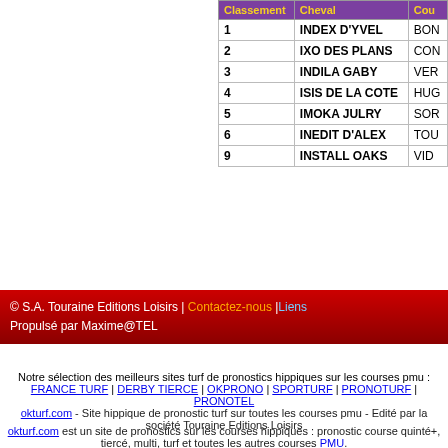| Classement | Cheval | Cou... |
| --- | --- | --- |
| 1 | INDEX D'YVEL | BON... |
| 2 | IXO DES PLANS | CON... |
| 3 | INDILA GABY | VER... |
| 4 | ISIS DE LA COTE | HUG... |
| 5 | IMOKA JULRY | SOR... |
| 6 | INEDIT D'ALEX | TOU... |
| 9 | INSTALL OAKS | VID... |
© S.A. Touraine Editions Loisirs | Contactez-nous |Liens
Propulsé par Maxime@TEL
Notre sélection des meilleurs sites turf de pronostics hippiques sur les courses pmu : FRANCE TURF | DERBY TIERCE | OKPRONO | SPORTURF | PRONOTURF | PRONOTEL
okturf.com - Site hippique de pronostic turf sur toutes les courses pmu - Edité par la société Touraine Editions Loisirs
okturf.com est un site de pronostics sur les courses hippiques : pronostic course quinté+, tiercé, multi, turf et toutes les autres courses PMU.
IMPORTANT : Les mises et conseils de jeux indiqués sur ce site ou dans notre journal sont donnés à titre informatifs. A aucun moment nous vous conseillons de miser les sommes indiquées. En cas de dépendance aux jeux d'argent, nous vous conseillons de prendre contact avec l'association SOS JOUEURS : http://www.sosjoueurs.org.